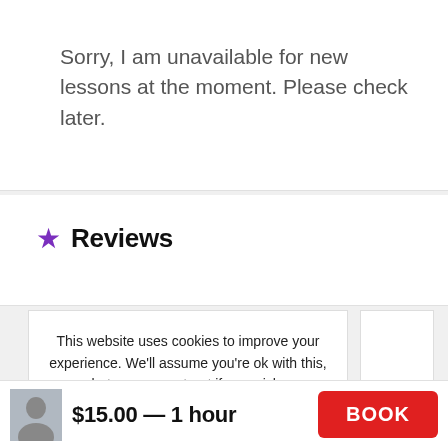Sorry, I am unavailable for new lessons at the moment. Please check later.
★ Reviews
This website uses cookies to improve your experience. We'll assume you're ok with this, but you can opt-out if you wish.
Cookie settings  ACCEPT
$15.00 — 1 hour  BOOK